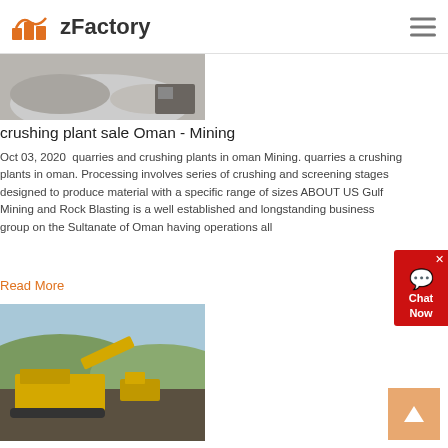zFactory
[Figure (photo): Crushed stone/gravel pile with machinery in background]
crushing plant sale Oman - Mining
Oct 03, 2020  quarries and crushing plants in oman Mining. quarries and crushing plants in oman. Processing involves series of crushing and screening stages designed to produce material with a specific range of sizes ABOUT US Gulf Mining and Rock Blasting is a well established and longstanding business group on the Sultanate of Oman having operations all
Read More
[Figure (photo): Yellow mobile crushing plant/mining machinery on a hillside terrain]
oman gold plants vacancies